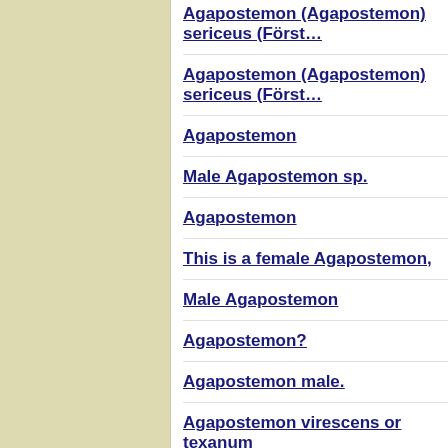Agapostemon (Agapostemon) sericeus (Först…
Agapostemon (Agapostemon) sericeus (Först…
Agapostemon
Male Agapostemon sp.
Agapostemon
This is a female Agapostemon,
Male Agapostemon
Agapostemon?
Agapostemon male.
Agapostemon virescens or texanum
Agapostemon